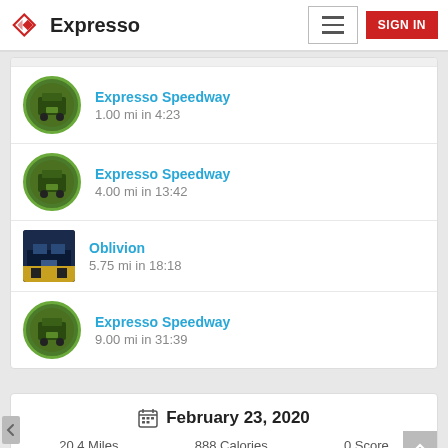Expresso — SIGN IN
Expresso Speedway — 1.00 mi in 4:23
Expresso Speedway — 4.00 mi in 13:42
Oblivion — 5.75 mi in 18:18
Expresso Speedway — 9.00 mi in 31:39
February 23, 2020
20.4 Miles   888 Calories   0 Score